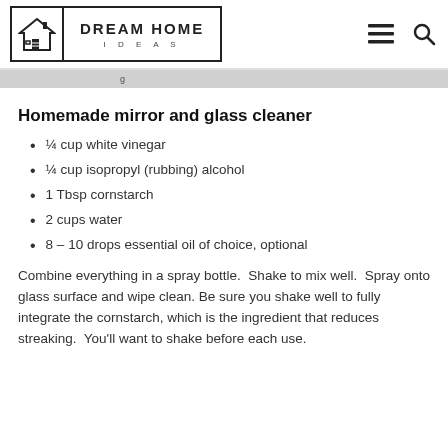DREAM HOME IDEAS
Homemade mirror and glass cleaner
¼ cup white vinegar
¼ cup isopropyl (rubbing) alcohol
1 Tbsp cornstarch
2 cups water
8 – 10 drops essential oil of choice, optional
Combine everything in a spray bottle.  Shake to mix well.  Spray onto glass surface and wipe clean. Be sure you shake well to fully integrate the cornstarch, which is the ingredient that reduces streaking.  You'll want to shake before each use.